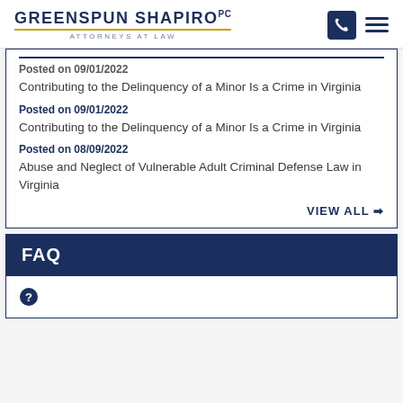GREENSPUN SHAPIRO PC ATTORNEYS AT LAW
Posted on 09/01/2022
Contributing to the Delinquency of a Minor Is a Crime in Virginia
Posted on 09/01/2022
Contributing to the Delinquency of a Minor Is a Crime in Virginia
Posted on 08/09/2022
Abuse and Neglect of Vulnerable Adult Criminal Defense Law in Virginia
VIEW ALL ➔
FAQ